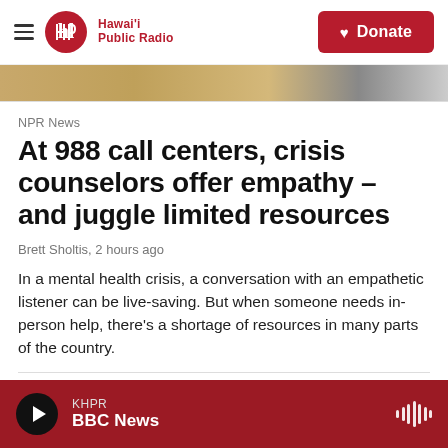Hawai'i Public Radio — Donate
[Figure (photo): Partial photo strip showing a blurred image, likely a newsroom or person]
NPR News
At 988 call centers, crisis counselors offer empathy – and juggle limited resources
Brett Sholtis, 2 hours ago
In a mental health crisis, a conversation with an empathetic listener can be live-saving. But when someone needs in-person help, there's a shortage of resources in many parts of the country.
KHPR BBC News